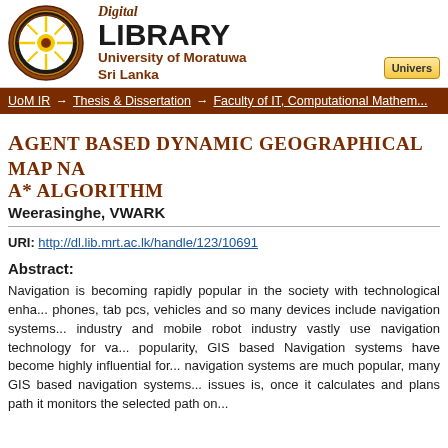[Figure (logo): University of Moratuwa crest/seal — circular emblem with gear border and Sri Lanka lion emblem]
Digital LIBRARY
University of Moratuwa
Sri Lanka
UoM IR → Thesis & Dissertation → Faculty of IT, Computational Mathema...
AGENT BASED DYNAMIC GEOGRAPHICAL MAP NA... A* ALGORITHM
Weerasinghe, VWARK
URI: http://dl.lib.mrt.ac.lk/handle/123/10691
Abstract:
Navigation is becoming rapidly popular in the society with technological enha... phones, tab pcs, vehicles and so many devices include navigation systems... industry and mobile robot industry vastly use navigation technology for va... popularity, GIS based Navigation systems have become highly influential for... navigation systems are much popular, many GIS based navigation systems... issues is, once it calculates and plans path it monitors the selected path on...